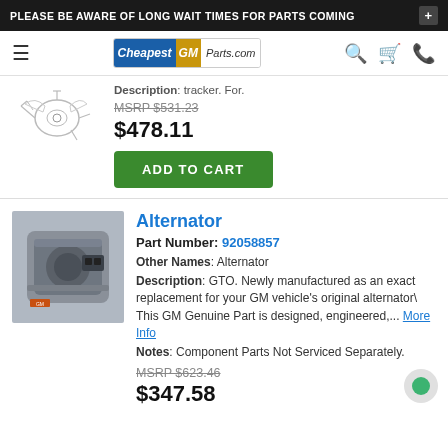PLEASE BE AWARE OF LONG WAIT TIMES FOR PARTS COMING +
[Figure (logo): CheapestGMParts.com logo with navigation icons]
[Figure (illustration): Small line-art illustration of a car part (alternator/rotor sketch)]
Description: tracker. For.
MSRP $531.23
$478.11
ADD TO CART
Alternator
Part Number: 92058857
Other Names: Alternator
Description: GTO. Newly manufactured as an exact replacement for your GM vehicle's original alternator\ This GM Genuine Part is designed, engineered,... More Info
Notes: Component Parts Not Serviced Separately.
MSRP $623.46
$347.58